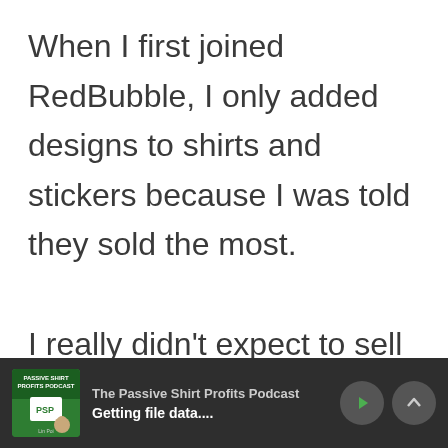When I first joined RedBubble, I only added designs to shirts and stickers because I was told they sold the most.

I really didn't expect to sell any other products, but RedBubble proved me wrong.
[Figure (screenshot): Podcast player footer bar showing 'The Passive Shirt Profits Podcast' with episode 'Getting file data....' and playback controls]